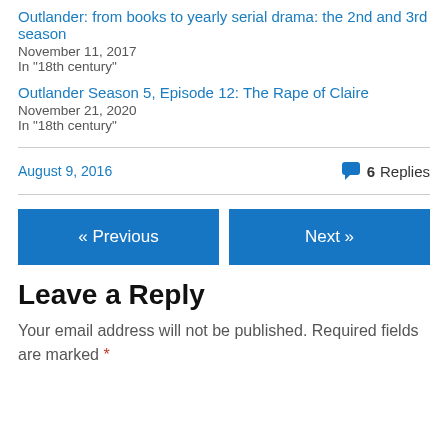Outlander: from books to yearly serial drama: the 2nd and 3rd season
November 11, 2017
In "18th century"
Outlander Season 5, Episode 12: The Rape of Claire
November 21, 2020
In "18th century"
August 9, 2016
6 Replies
« Previous
Next »
Leave a Reply
Your email address will not be published. Required fields are marked *